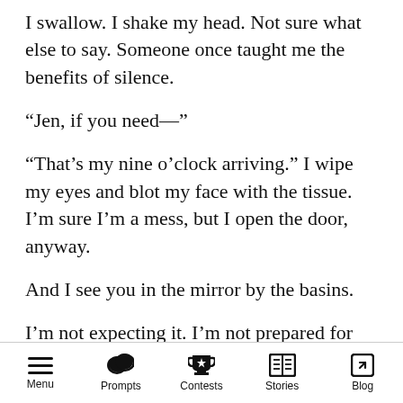I swallow. I shake my head. Not sure what else to say. Someone once taught me the benefits of silence.
“Jen, if you need—”
“That’s my nine o’clock arriving.” I wipe my eyes and blot my face with the tissue. I’m sure I’m a mess, but I open the door, anyway.
And I see you in the mirror by the basins.
I’m not expecting it. I’m not prepared for the shock. Your glorious black hair is cut into a severe bob. You’re pale. And thin. Your sparkle extinguished, and I wonder, does no one else
Menu  Prompts  Contests  Stories  Blog